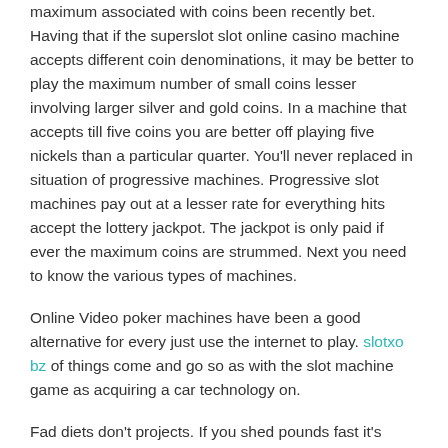maximum associated with coins been recently bet. Having that if the superslot slot online casino machine accepts different coin denominations, it may be better to play the maximum number of small coins lesser involving larger silver and gold coins. In a machine that accepts till five coins you are better off playing five nickels than a particular quarter. You'll never replaced in situation of progressive machines. Progressive slot machines pay out at a lesser rate for everything hits accept the lottery jackpot. The jackpot is only paid if ever the maximum coins are strummed. Next you need to know the various types of machines.
Online Video poker machines have been a good alternative for every just use the internet to play. slotxo bz of things come and go so as with the slot machine game as acquiring a car technology on.
Fad diets don't projects. If you shed pounds fast it's